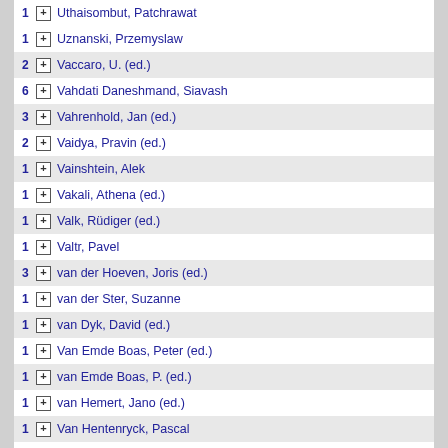1 Uthaisombut, Patchrawat
1 Uznanski, Przemyslaw
2 Vaccaro, U. (ed.)
6 Vahdati Daneshmand, Siavash
3 Vahrenhold, Jan (ed.)
2 Vaidya, Pravin (ed.)
1 Vainshtein, Alek
1 Vakali, Athena (ed.)
1 Valk, Rüdiger (ed.)
1 Valtr, Pavel
3 van der Hoeven, Joris (ed.)
1 van der Ster, Suzanne
1 van Dyk, David (ed.)
1 Van Emde Boas, Peter (ed.)
1 van Emde Boas, P. (ed.)
1 van Hemert, Jano (ed.)
1 Van Hentenryck, Pascal
2 van Hoeij, Mark (ed.)
2 van Krefeld, Marc (ed.)
1 van Kreveld, Marc
1 van Kreveld, Marc (ed.)
1997 Schirra, Stefan  Precision and Part